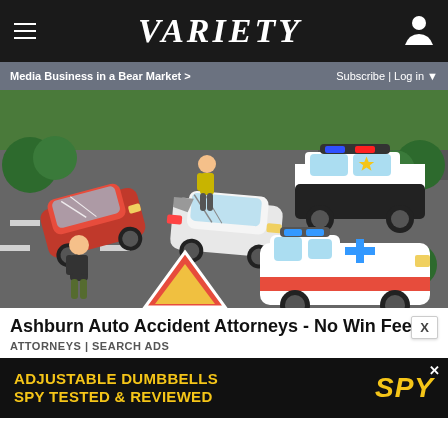VARIETY
Media Business in a Bear Market >
Subscribe | Log in ▼
[Figure (illustration): Cartoon illustration of a car accident scene at an intersection, showing a red car and white car crashed, a police car, an ambulance, and two cartoon pedestrian figures. Street signs and trees in background.]
Ashburn Auto Accident Attorneys - No Win Fee
ATTORNEYS | SEARCH ADS
[Figure (other): Advertisement banner for Adjustable Dumbbells - SPY Tested & Reviewed, dark background with yellow text and SPY logo]